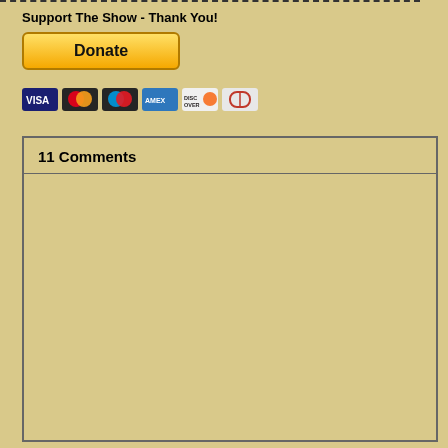Support The Show - Thank You!
[Figure (other): PayPal Donate button with yellow gradient background]
[Figure (other): Payment method icons: Visa, Mastercard, Maestro, American Express, Discover, Diners Club]
11 Comments